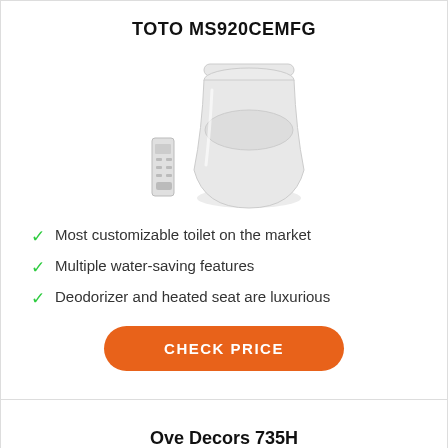TOTO MS920CEMFG
[Figure (photo): White TOTO MS920CEMFG smart toilet with remote control unit beside it]
Most customizable toilet on the market
Multiple water-saving features
Deodorizer and heated seat are luxurious
CHECK PRICE
Ove Decors 735H